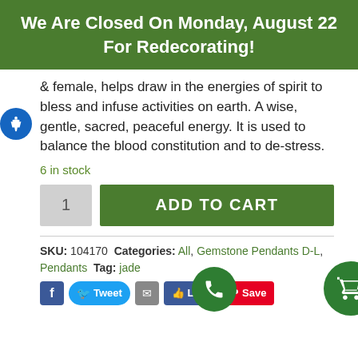We Are Closed On Monday, August 22 For Redecorating!
& female, helps draw in the energies of spirit to bless and infuse activities on earth. A wise, gentle, sacred, peaceful energy. It is used to balance the blood constitution and to de-stress.
6 in stock
1  ADD TO CART
SKU: 104170 Categories: All, Gemstone Pendants D-L, Pendants Tag: jade
Facebook Tweet Email Like Save